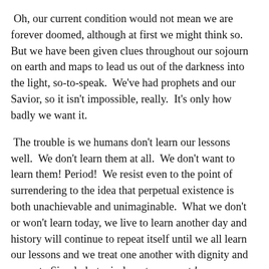Oh, our current condition would not mean we are forever doomed, although at first we might think so.  But we have been given clues throughout our sojourn on earth and maps to lead us out of the darkness into the light, so-to-speak.  We've had prophets and our Savior, so it isn't impossible, really.  It's only how badly we want it.
The trouble is we humans don't learn our lessons well.  We don't learn them at all.  We don't want to learn them! Period!  We resist even to the point of surrendering to the idea that perpetual existence is both unachievable and unimaginable.  What we don't or won't learn today, we live to learn another day and history will continue to repeat itself until we all learn our lessons and we treat one another with dignity and respect.  Simply but wisely put, we must be our brother's keeper.
For today, however, it doesn't really matter if that universal